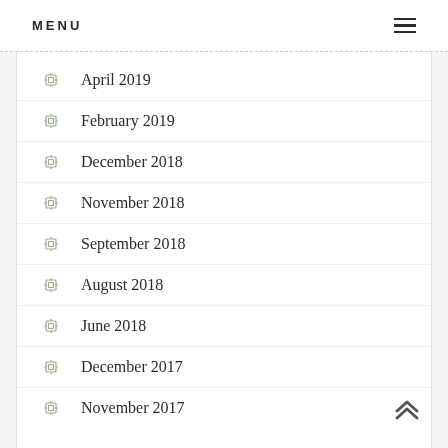MENU
April 2019
February 2019
December 2018
November 2018
September 2018
August 2018
June 2018
December 2017
November 2017